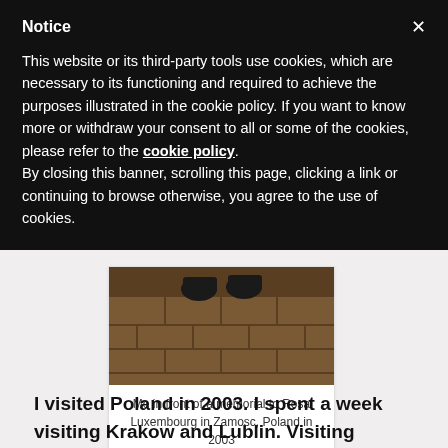Notice
This website or its third-party tools use cookies, which are necessary to its functioning and required to achieve the purposes illustrated in the cookie policy. If you want to know more or withdraw your consent to all or some of the cookies, please refer to the cookie policy.
By closing this banner, scrolling this page, clicking a link or continuing to browse otherwise, you agree to the use of cookies.
[Figure (photo): Photograph of a stone/tile floor with two feet in dark shoes visible at the top, taken in front of a memorial to Rosa Luxembourg in Zamosc, Poland in 2003]
Me in front of a memorial to Rosa Luxembourg in Zamosc, Poland in 2003
I visited Poland in 2003. I spent a week visiting Krakow and Lublin. Visiting Poland was